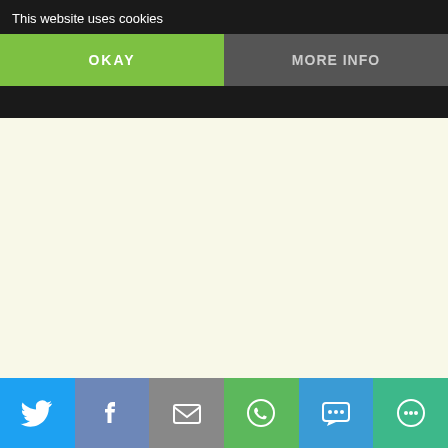This website uses cookies
OKAY
MORE INFO
saying how they will look after Croatia... of course they will even if they don't, I me... that humungous parliament house. Me... or Croatian Parliament and that tells m... Croatian people are idiots and don't kno... platform, however, is different. You kno... an established institution and that you m... ideas for Croatia to make its mark there... clearly and have the courage to enter th... Parliament) WITH BELLS ON! Just fabu...
Loading...
Like
Reply
inavukic says:
March 25, 2013 at 11:35 am
Yep, Wilkinson, no election-season-sp... it got the world so far – fresh approac...
Twitter share button
Facebook share button
Email share button
WhatsApp share button
SMS share button
More share button